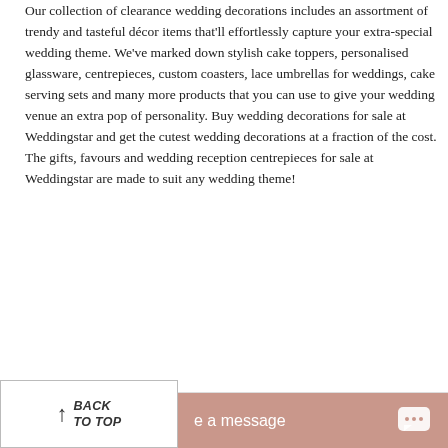Our collection of clearance wedding decorations includes an assortment of trendy and tasteful décor items that'll effortlessly capture your extra-special wedding theme. We've marked down stylish cake toppers, personalised glassware, centrepieces, custom coasters, lace umbrellas for weddings, cake serving sets and many more products that you can use to give your wedding venue an extra pop of personality. Buy wedding decorations for sale at Weddingstar and get the cutest wedding decorations at a fraction of the cost. The gifts, favours and wedding reception centrepieces for sale at Weddingstar are made to suit any wedding theme!
e on Sale
l gifts on sale, ranging from handy esome gifts for bridesmaids to custom p. We can also help you stock up on grandpa, the ring bearer and flower girl anted wedding favours — custom ample — to keep your favour budget
nning process, you'll love affordable decorations from Weddingstar. Many of selection of discount wedding g their special vision to life! Whether Weddingstar is the best place to start! If
We use cookies on our website to give you the most relevant experience and for personalised ads by remembering your preferences and repeat visits. By Clicking "Accept", you consent to the use of ALL the cookies.
YES, I ACCEPT
More Info
BACK TO TOP
e a message